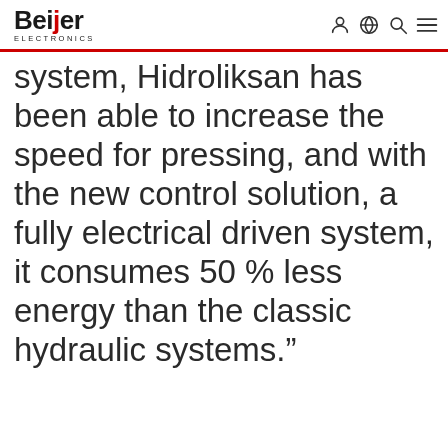Beijer Electronics
system, Hidroliksan has been able to increase the speed for pressing, and with the new control solution, a fully electrical driven system, it consumes 50 % less energy than the classic hydraulic systems.”